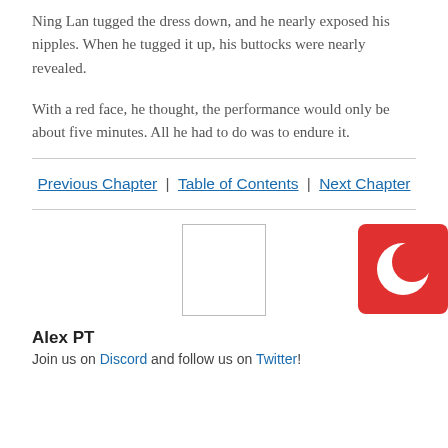Ning Lan tugged the dress down, and he nearly exposed his nipples. When he tugged it up, his buttocks were nearly revealed.
With a red face, he thought, the performance would only be about five minutes. All he had to do was to endure it.
Previous Chapter | Table of Contents | Next Chapter
[Figure (illustration): Empty white rectangle with border, used as avatar placeholder]
Alex PT
Join us on Discord and follow us on Twitter!
[Figure (logo): Red square icon with a white crescent moon symbol]